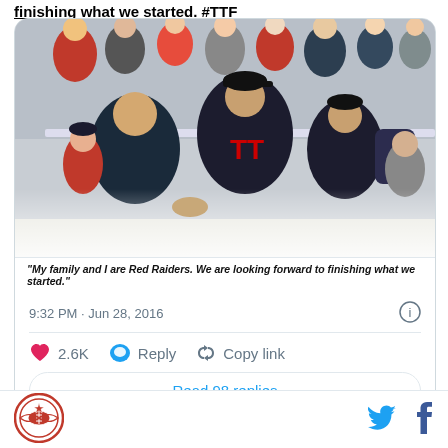finishing what we started. #TTF
[Figure (photo): Baseball players and staff in Texas Tech Red Raiders uniforms shaking hands with people in a stadium concourse area, with fans and crowd visible in background]
"My family and I are Red Raiders. We are looking forward to finishing what we started."
9:32 PM · Jun 28, 2016
2.6K  Reply  Copy link
Read 98 replies
[Figure (logo): Lone Star Gridiron circular logo with football and Texas star]
[Figure (logo): Twitter bird icon]
[Figure (logo): Facebook f icon]